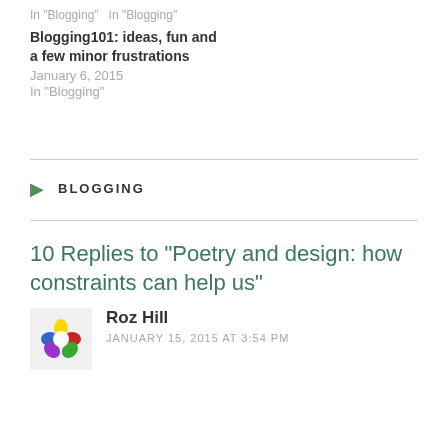In "Blogging"
In "Blogging"
Blogging101: ideas, fun and a few minor frustrations
January 6, 2015
In "Blogging"
BLOGGING
10 Replies to “Poetry and design: how constraints can help us”
Roz Hill
JANUARY 15, 2015 AT 3:54 PM